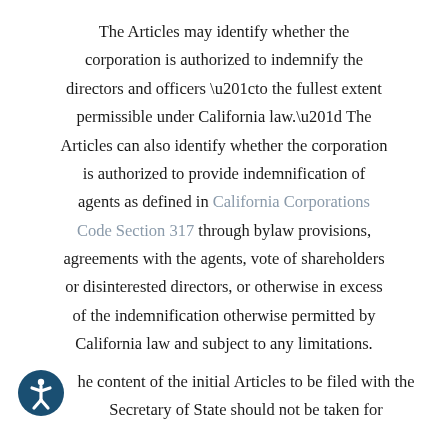The Articles may identify whether the corporation is authorized to indemnify the directors and officers “to the fullest extent permissible under California law.” The Articles can also identify whether the corporation is authorized to provide indemnification of agents as defined in California Corporations Code Section 317 through bylaw provisions, agreements with the agents, vote of shareholders or disinterested directors, or otherwise in excess of the indemnification otherwise permitted by California law and subject to any limitations.
The content of the initial Articles to be filed with the Secretary of State should not be taken for